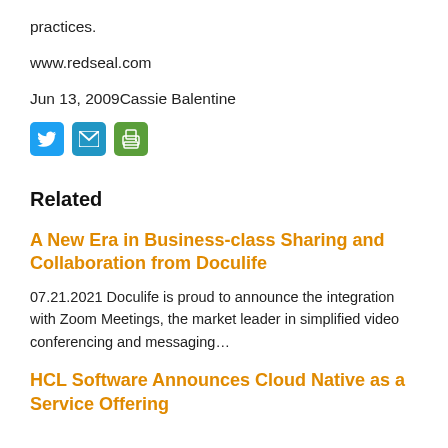practices.
www.redseal.com
Jun 13, 2009Cassie Balentine
[Figure (other): Three social sharing icon buttons: Twitter (blue bird), Email (blue envelope), Print (green printer)]
Related
A New Era in Business-class Sharing and Collaboration from Doculife
07.21.2021 Doculife is proud to announce the integration with Zoom Meetings, the market leader in simplified video conferencing and messaging…
HCL Software Announces Cloud Native as a Service Offering